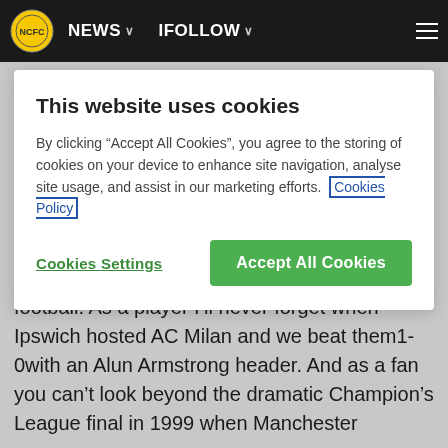NEWS   IFOLLOW
This website uses cookies
By clicking “Accept All Cookies”, you agree to the storing of cookies on your device to enhance site navigation, analyse site usage, and assist in our marketing efforts.  Cookies Policy
Cookies Settings   Accept All Cookies
I’ve got some great memories of European football. As a player I’ll never forget when Ipswich hosted AC Milan and we beat them1-0with an Alun Armstrong header. And as a fan you can’t look beyond the dramatic Champion’s League final in 1999 when Manchester